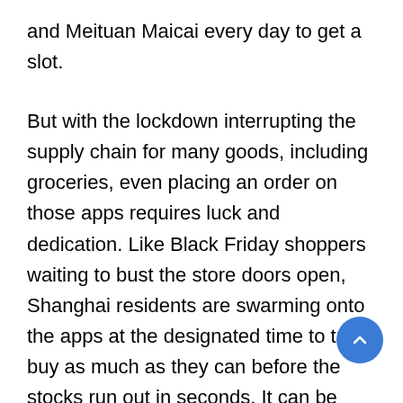and Meituan Maicai every day to get a slot.
But with the lockdown interrupting the supply chain for many goods, including groceries, even placing an order on those apps requires luck and dedication. Like Black Friday shoppers waiting to bust the store doors open, Shanghai residents are swarming onto the apps at the designated time to try to buy as much as they can before the stocks run out in seconds. It can be stressful and frustrating.
Li, a consultant in Shanghai who’s only using her surname because she wishes to stay anonymo… also got up early every morning for a week to try